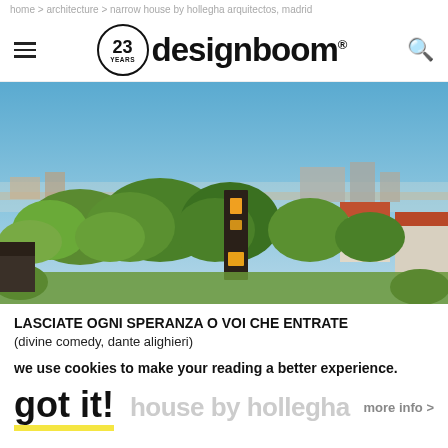home > architecture > narrow house by hollegha arquitectos, madrid
[Figure (logo): Designboom logo with 23 years badge, hamburger menu icon on left, search icon on right]
[Figure (photo): Aerial cityscape photograph of a residential neighbourhood in Madrid showing trees, houses, and a narrow dark building with yellow/orange window accents in the center, under a clear blue sky]
LASCIATE OGNI SPERANZA O VOI CHE ENTRATE
(divine comedy, dante alighieri)
we use cookies to make your reading a better experience.
got it!  house by hollegha   more info >